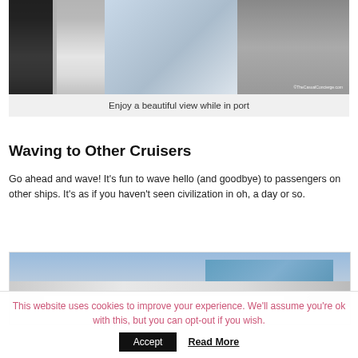[Figure (photo): Photo of a cruise ship cabin interior with curtains, window view, and a person sitting in a chair]
Enjoy a beautiful view while in port
Waving to Other Cruisers
Go ahead and wave! It’s fun to wave hello (and goodbye) to passengers on other ships. It’s as if you haven’t seen civilization in oh, a day or so.
[Figure (photo): Photo of a large cruise ship exterior showing decks, glass structures, and upper levels against a blue sky]
This website uses cookies to improve your experience. We’ll assume you’re ok with this, but you can opt-out if you wish.